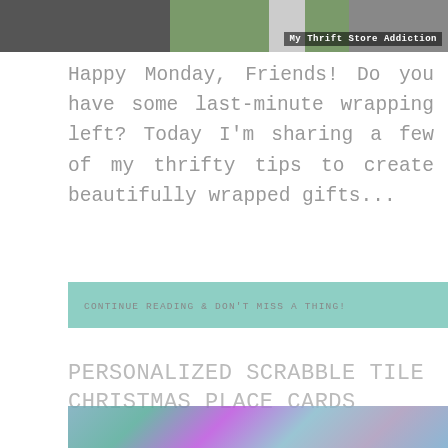[Figure (photo): Partial collage image at the top of the page showing pieces of fabric/wrapping materials in grey, green, and other colors with 'My Thrift Store Addiction' watermark text in white]
Happy Monday, Friends! Do you have some last-minute wrapping left? Today I'm sharing a few of my thrifty tips to create beautifully wrapped gifts...
CONTINUE READING & DON'T MISS A THING!
PERSONALIZED SCRABBLE TILE CHRISTMAS PLACE CARDS
[Figure (photo): Partial image at the bottom of the page showing a Christmas-themed scene with greenery, glass, and decorative elements]